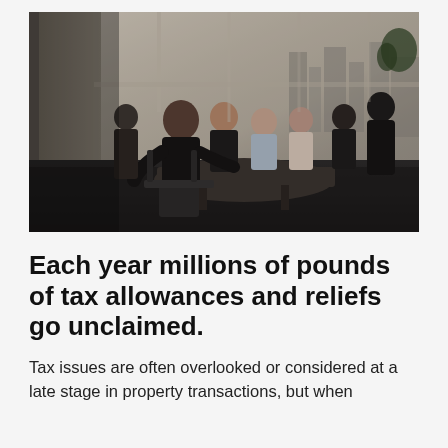[Figure (photo): Business meeting scene: group of professionals sitting and standing around a conference table in a modern office with large floor-to-ceiling windows and city skyline in background. Dark, slightly silhouetted figures in professional attire.]
Each year millions of pounds of tax allowances and reliefs go unclaimed.
Tax issues are often overlooked or considered at a late stage in property transactions, but when